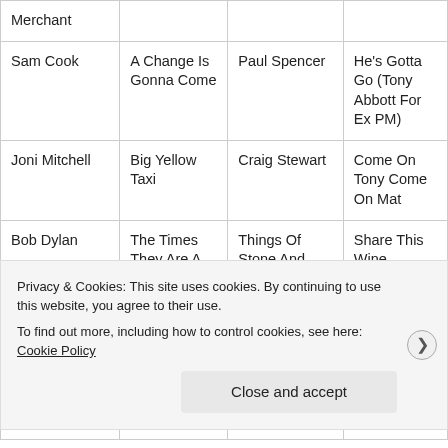| Artist | Song | Cover Artist | Cover Title |
| --- | --- | --- | --- |
| Merchant |  |  |  |
| Sam Cook | A Change Is Gonna Come | Paul Spencer | He's Gotta Go (Tony Abbott For Ex PM) |
| Joni Mitchell | Big Yellow Taxi | Craig Stewart | Come On Tony Come On Mat |
| Bob Dylan | The Times They Are A Changin | Things Of Stone And Wood | Share This Wine |
| Phil Monsour and Rafeef Ziadah | Ghosts Of Deir Yassin | Combat Wombat | Alternative Energy |
| Sinead | Black Boys On | Test Their Logik | Bling Is Dead |
Privacy & Cookies: This site uses cookies. By continuing to use this website, you agree to their use.
To find out more, including how to control cookies, see here: Cookie Policy